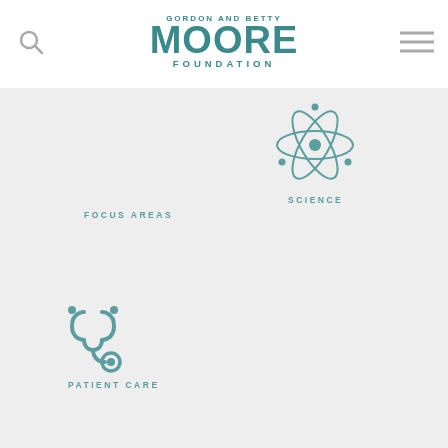[Figure (logo): Gordon and Betty Moore Foundation logo in teal]
[Figure (illustration): Search icon (magnifying glass) in gray]
[Figure (illustration): Hamburger menu icon (three horizontal lines) in gray]
FOCUS AREAS
[Figure (illustration): Atom/science icon in teal]
SCIENCE
[Figure (illustration): Stethoscope icon in teal]
PATIENT CARE